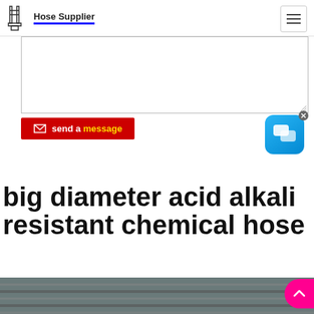Hose Supplier
[Figure (screenshot): A textarea input field (form element) for entering a message]
[Figure (screenshot): Red send a message button with envelope icon, and a blue chat bubble popup icon with X close button]
big diameter acid alkali resistant chemical hose
[Figure (photo): Bottom strip showing a photo of a large diameter chemical hose]